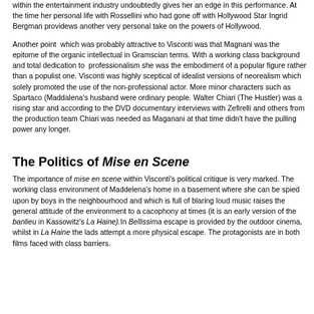within the entertainment industry undoubtedly gives her an edge in this performance. At the time her personal life with Rossellini who had gone off with Hollywood Star Ingrid Bergman providews another very personal take on the powers of Hollywood.
Another point which was probably attractive to Visconti was that Magnani was the epitome of the organic intellectual in Gramscian terms. With a working class background and total dedication to professionalism she was the embodiment of a popular figure rather than a populist one. Visconti was highly sceptical of idealist versions of neorealism which solely promoted the use of the non-professional actor. More minor characters such as Spartaco (Maddalena's husband were ordinary people. Walter Chiari (The Hustler) was a rising star and according to the DVD documentary interviews with Zefirelli and others from the production team Chiari was needed as Maganani at that time didn't have the pulling power any longer.
The Politics of Mise en Scene
The importance of mise en scene within Visconti's political critique is very marked. The working class environment of Maddelena's home in a basement where she can be spied upon by boys in the neighbourhood and which is full of blaring loud music raises the general attitude of the environment to a cacophony at times (it is an early version of the banlieu in Kassowitz's La Haine).In Bellissima escape is provided by the outdoor cinema, whilst in La Haine the lads attempt a more physical escape. The protagonists are in both films faced with class barriers.